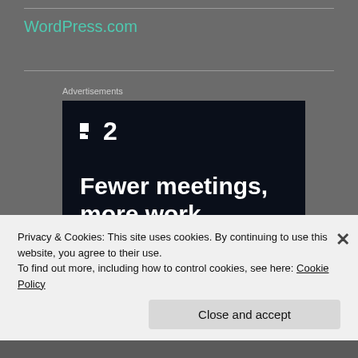WordPress.com
Advertisements
[Figure (screenshot): Dark advertisement banner for a project management tool showing a logo with squares and the number 2, tagline 'Fewer meetings, more work.' and a 'Get started for free' button on dark background.]
Privacy & Cookies: This site uses cookies. By continuing to use this website, you agree to their use.
To find out more, including how to control cookies, see here: Cookie Policy
Close and accept